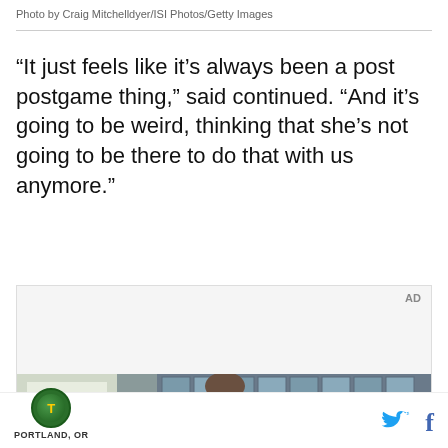Photo by Craig Mitchelldyer/ISI Photos/Getty Images
“It just feels like it’s always been a post postgame thing,” said continued. “And it’s going to be weird, thinking that she’s not going to be there to do that with us anymore.”
[Figure (photo): Advertisement area with AD label at top right and a video frame showing a young man with curly hair standing in front of a building with a grid-pattern facade]
PORTLAND, OR